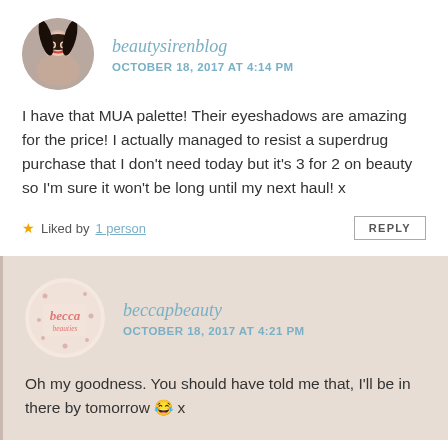[Figure (photo): Circular avatar photo of a young woman with dark hair and red lipstick]
beautysirenblog
OCTOBER 18, 2017 AT 4:14 PM
I have that MUA palette! Their eyeshadows are amazing for the price! I actually managed to resist a superdrug purchase that I don't need today but it's 3 for 2 on beauty so I'm sure it won't be long until my next haul! x
★ Liked by 1 person
REPLY
[Figure (logo): Circular logo for beccapbeauty with pink text on light background with decorative dots]
beccapbeauty
OCTOBER 18, 2017 AT 4:21 PM
Oh my goodness. You should have told me that, I'll be in there by tomorrow 😂 x